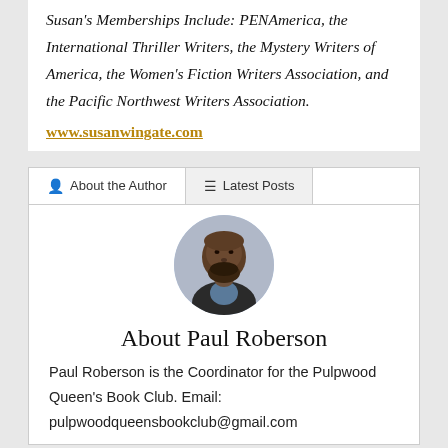Susan's Memberships Include: PENAmerica, the International Thriller Writers, the Mystery Writers of America, the Women's Fiction Writers Association, and the Pacific Northwest Writers Association.
www.susanwingate.com
[Figure (screenshot): A tabbed widget showing 'About the Author' (active tab) and 'Latest Posts' (inactive tab), with a circular profile photo of Paul Roberson (a Black man with a beard in a suit), the heading 'About Paul Roberson', and bio text: 'Paul Roberson is the Coordinator for the Pulpwood Queen's Book Club. Email: pulpwoodqueensbookclub@gmail.com']